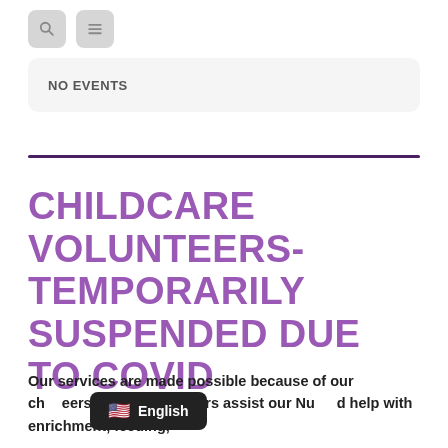[Figure (other): Two icon buttons: a search (magnifying glass) icon and a menu (hamburger lines) icon, both on rounded gray backgrounds]
NO EVENTS
CHILDCARE VOLUNTEERS- TEMPORARILY SUSPENDED DUE TO COVID
Our services are made possible because of our ch... eers. These volunteers assist our Nu... d help with enrichment, feeding,
[Figure (other): Language selector badge showing US flag emoji and 'English' label on dark background]